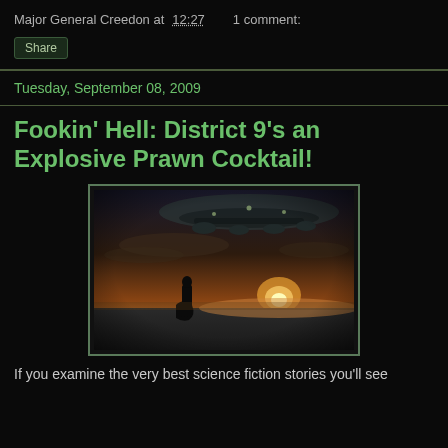Major General Creedon at 12:27    1 comment:
Share
Tuesday, September 08, 2009
Fookin' Hell: District 9's an Explosive Prawn Cocktail!
[Figure (photo): A silhouetted figure stands against a dramatic sunset sky with a large alien spacecraft hovering overhead, from the movie District 9.]
If you examine the very best science fiction stories you'll see